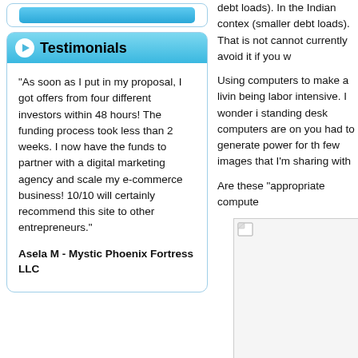[Figure (other): Blue gradient button/bar at top of left column]
Testimonials
"As soon as I put in my proposal, I got offers from four different investors within 48 hours! The funding process took less than 2 weeks. I now have the funds to partner with a digital marketing agency and scale my e-commerce business! 10/10 will certainly recommend this site to other entrepreneurs."
Asela M - Mystic Phoenix Fortress LLC
debt loads). In the Indian context (smaller debt loads). That is not cannot currently avoid it if you w
Using computers to make a living being labor intensive. I wonder i standing desk computers are on you had to generate power for th few images that I'm sharing with
Are these "appropriate compute
[Figure (photo): Broken/missing image placeholder shown as a small document icon in a light gray box]